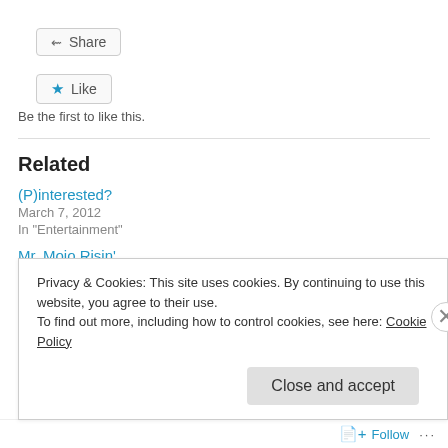[Figure (other): Share button with share icon]
[Figure (other): Like button with star icon]
Be the first to like this.
Related
(P)interested?
March 7, 2012
In "Entertainment"
Mr. Mojo Risin'
April 21, 2012
Privacy & Cookies: This site uses cookies. By continuing to use this website, you agree to their use.
To find out more, including how to control cookies, see here: Cookie Policy
Close and accept